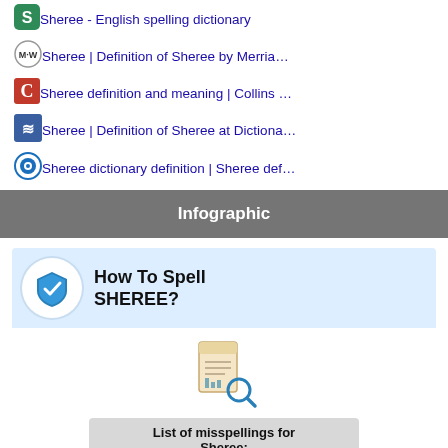Sheree - English spelling dictionary
Sheree | Definition of Sheree by Merria…
Sheree definition and meaning | Collins …
Sheree | Definition of Sheree at Dictiona…
Sheree dictionary definition | Sheree def…
Infographic
[Figure (infographic): How To Spell SHEREE? infographic with shield icon, document search icon, list of misspellings for Sheree, and Rhymes for Sheree section at bottom.]
List of misspellings for Sheree:
hereee, shaare, shreak, cheeroke, sheraide, shory, chere, peree, shoreup, shere, herc'c, shedrow, heerc, shrarc, werec, cherrkec, shouro, shreon, shopher, cherakee, sharen, shreek, showreel, pieree, shoure, sheesh, rhree, shoerack, shiraff, wheere…
Rhymes for Sheree: